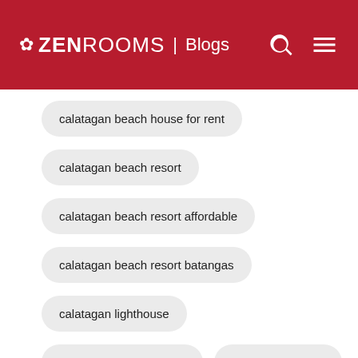ZEN ROOMS | Blogs
calatagan beach house for rent
calatagan beach resort
calatagan beach resort affordable
calatagan beach resort batangas
calatagan lighthouse
calatagan public market
calatagan resorts
calatagan sandbar
calatagan white beach
calayo beach
calayo beach resort